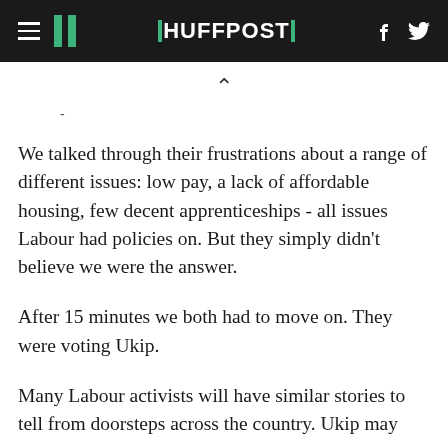HUFFPOST
-
We talked through their frustrations about a range of different issues: low pay, a lack of affordable housing, few decent apprenticeships - all issues Labour had policies on. But they simply didn't believe we were the answer.
After 15 minutes we both had to move on. They were voting Ukip.
Many Labour activists will have similar stories to tell from doorsteps across the country. Ukip may